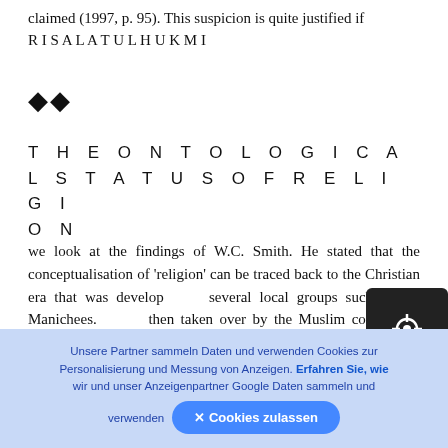claimed (1997, p. 95). This suspicion is quite justified if RISALATULHUKMI
◆◆
THE ONTOLOGICAL STATUS OF RELIGION
we look at the findings of W.C. Smith. He stated that the conceptualisation of 'religion' can be traced back to the Christian era that was developed by several local groups such as the Manichees. It was then taken over by the Muslim community and brought along in the expansion process so that it entered the flow of Western civilisation through...
Unsere Partner sammeln Daten und verwenden Cookies zur Personalisierung und Messung von Anzeigen. Erfahren Sie, wie wir und unser Anzeigenpartner Google Daten sammeln und verwenden × Cookies zulassen